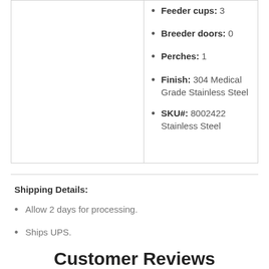Feeder cups: 3
Breeder doors: 0
Perches: 1
Finish: 304 Medical Grade Stainless Steel
SKU#: 8002422 Stainless Steel
Shipping Details:
Allow 2 days for processing.
Ships UPS.
Customer Reviews